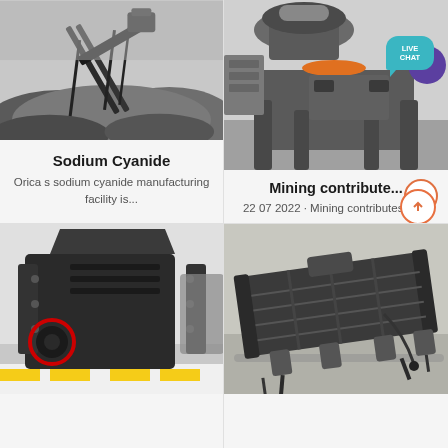[Figure (photo): Aerial conveyor belt over large pile of dark aggregate/ore at a mining or quarrying site]
Sodium Cyanide
Orica s sodium cyanide manufacturing facility is...
[Figure (photo): Industrial cone crusher machine in grey color with orange ring, photographed in a factory or warehouse setting, with 'LIVE CHAT' bubble overlay]
Mining contribute...
22 07 2022 · Mining contributes to ...
[Figure (photo): Large black industrial impact crusher/hammer mill with red circular marking, on factory floor with yellow safety markings]
[Figure (photo): Industrial vibrating screen/separator machine, dark grey metal construction, on workshop floor]